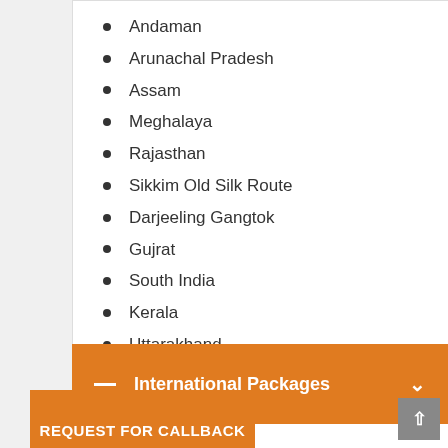Andaman
Arunachal Pradesh
Assam
Meghalaya
Rajasthan
Sikkim Old Silk Route
Darjeeling Gangtok
Gujrat
South India
Kerala
Uttarakhand
International Packages
REQUEST FOR CALLBACK
Bhutan